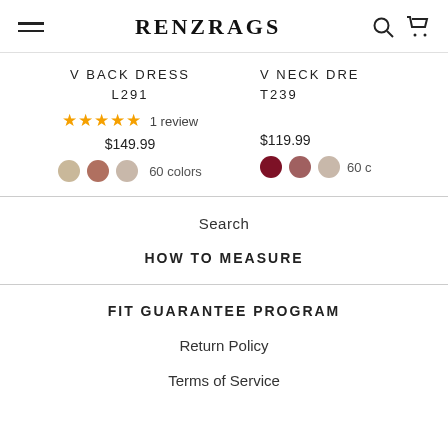RENZRAGS
V BACK DRESS L291 — 1 review — $149.99 — 60 colors
V NECK DRESS T239 — $119.99 — 60 colors
Search
HOW TO MEASURE
FIT GUARANTEE PROGRAM
Return Policy
Terms of Service